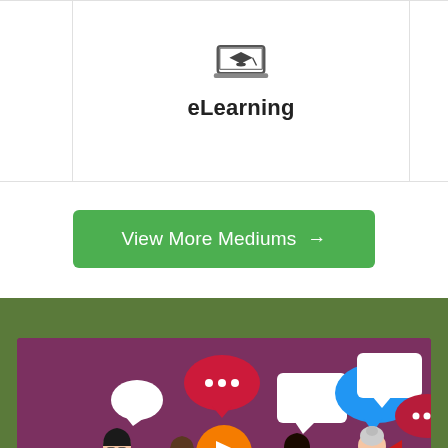[Figure (illustration): eLearning card with a laptop/graduation cap icon centered in a white card with borders on left and right sides partially visible]
eLearning
View More Mediums →
[Figure (illustration): Cartoon illustration of diverse people with speech bubbles and a video play button on a purple background, set within a green banner section]